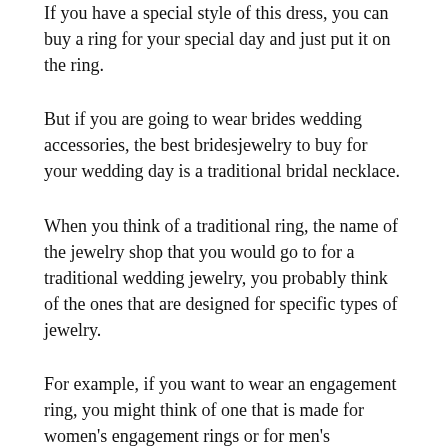If you have a special style of this dress, you can buy a ring for your special day and just put it on the ring.
But if you are going to wear brides wedding accessories, the best bridesjewelry to buy for your wedding day is a traditional bridal necklace.
When you think of a traditional ring, the name of the jewelry shop that you would go to for a traditional wedding jewelry, you probably think of the ones that are designed for specific types of jewelry.
For example, if you want to wear an engagement ring, you might think of one that is made for women's engagement rings or for men's engagement brides.
For this, for a wedding ring, it will probably be a